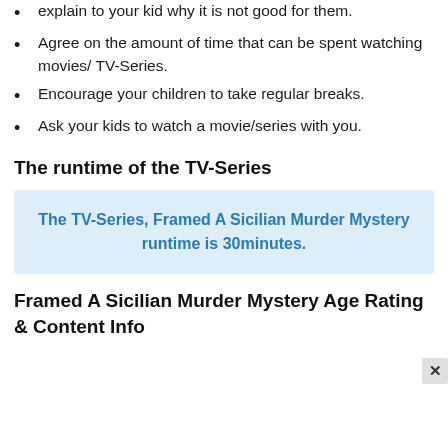explain to your kid why it is not good for them.
Agree on the amount of time that can be spent watching movies/ TV-Series.
Encourage your children to take regular breaks.
Ask your kids to watch a movie/series with you.
The runtime of the TV-Series
The TV-Series, Framed A Sicilian Murder Mystery runtime is 30minutes.
Framed A Sicilian Murder Mystery Age Rating & Content Info